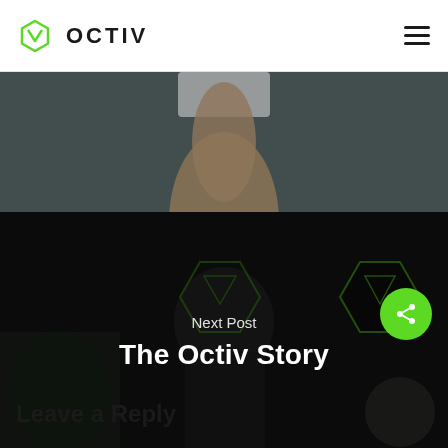OCTIV
[Figure (photo): Fitness photo showing torso of person in gym/workout attire, dark background with brick wall]
[Figure (photo): Dark photo of person in gym wearing cap using phone, with Octiv branded signage in background. Overlaid text reads 'Next Post' and 'The Octiv Story']
Next Post
The Octiv Story
Leave a Reply